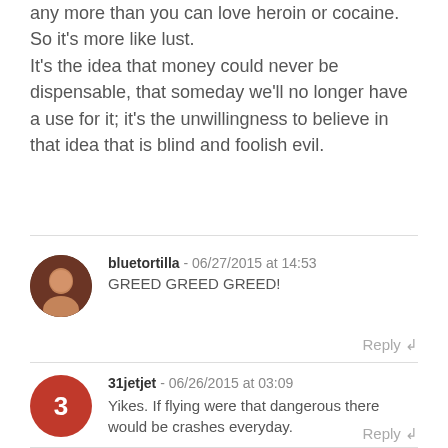any more than you can love heroin or cocaine. So it's more like lust.
It's the idea that money could never be dispensable, that someday we'll no longer have a use for it; it's the unwillingness to believe in that idea that is blind and foolish evil.
bluetortilla - 06/27/2015 at 14:53
GREED GREED GREED!
Reply
31jetjet - 06/26/2015 at 03:09
Yikes. If flying were that dangerous there would be crashes everyday.
Reply